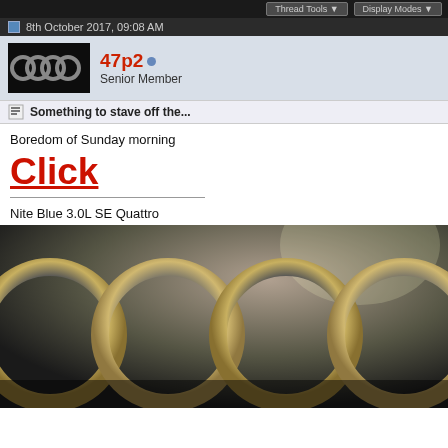Thread Tools  Display Modes
8th October 2017, 09:08 AM
47p2  Senior Member
Something to stave off the...
Boredom of Sunday morning
Click
Nite Blue 3.0L SE Quattro
[Figure (photo): Audi four-ring chrome logo badge close-up]